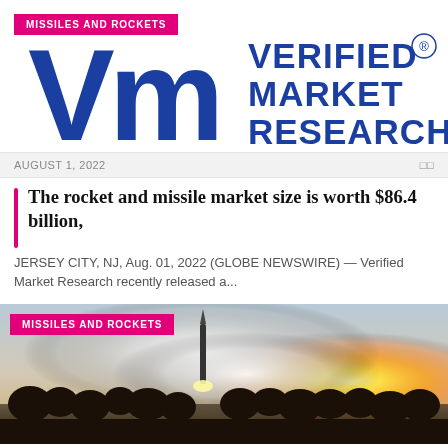[Figure (logo): Verified Market Research logo with large blue VMR letters and 'VERIFIED MARKET RESEARCH' text in dark blue, with 'MISSILES AND ROCKETS' pink badge overlay]
AUGUST 1, 2022   0 0
The rocket and missile market size is worth $86.4 billion,
JERSEY CITY, NJ, Aug. 01, 2022 (GLOBE NEWSWIRE) — Verified Market Research recently released a...
[Figure (photo): Rocket launch photo showing a missile launching with bright orange/yellow light and large white smoke clouds against a sky background, with dark silhouette of treeline at bottom. 'MISSILES AND ROCKETS' pink badge in top left.]